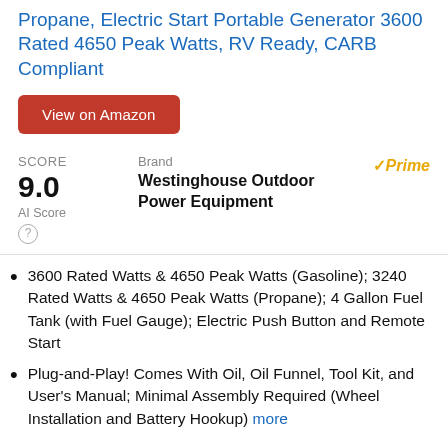Propane, Electric Start Portable Generator 3600 Rated 4650 Peak Watts, RV Ready, CARB Compliant
View on Amazon
SCORE
9.0
AI Score
Brand
Westinghouse Outdoor Power Equipment
Prime
3600 Rated Watts & 4650 Peak Watts (Gasoline); 3240 Rated Watts & 4650 Peak Watts (Propane); 4 Gallon Fuel Tank (with Fuel Gauge); Electric Push Button and Remote Start
Plug-and-Play! Comes With Oil, Oil Funnel, Tool Kit, and User's Manual; Minimal Assembly Required (Wheel Installation and Battery Hookup) more